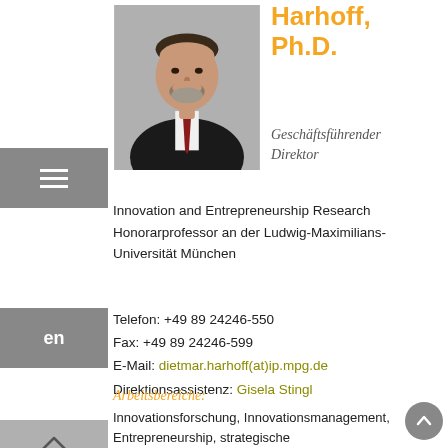[Figure (photo): Portrait photo of Dietmar Harhoff, a man in a dark suit with a red tie, grey beard]
Harhoff, Ph.D.
Geschäftsführender Direktor
Innovation and Entrepreneurship Research
Honorarprofessor an der Ludwig-Maximilians-Universität München
Telefon: +49 89 24246-550
Fax: +49 89 24246-599
E-Mail: dietmar.harhoff(at)ip.mpg.de
Direktionsassistenz: Gisela Stingl
Arbeitsbereiche:
Innovationsforschung, Innovationsmanagement, Entrepreneurship, strategische Unternehmensführung, empirische Wirtschaftsforschung, insbesondere